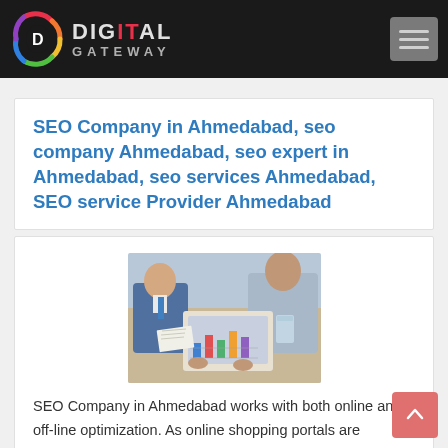Digital Gateway – Navigation bar with logo and hamburger menu
SEO Company in Ahmedabad, seo company Ahmedabad, seo expert in Ahmedabad, seo services Ahmedabad, SEO service Provider Ahmedabad
[Figure (photo): Business professionals sitting around a table reviewing analytics data on a tablet device]
SEO Company in Ahmedabad works with both online and off-line optimization. As online shopping portals are increasing the demand for it is also growing with passing days. So, with